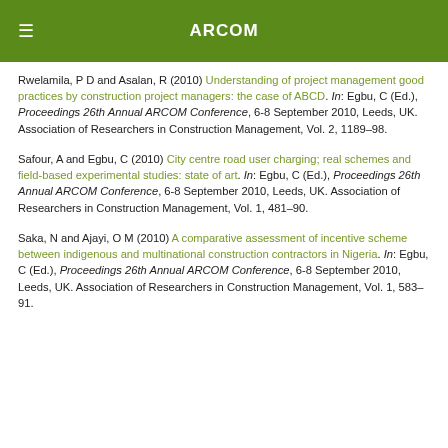ARCOM
Rwelamila, P D and Asalan, R (2010) Understanding of project management good practices by construction project managers: the case of ABCD. In: Egbu, C (Ed.), Proceedings 26th Annual ARCOM Conference, 6-8 September 2010, Leeds, UK. Association of Researchers in Construction Management, Vol. 2, 1189–98.
Safour, A and Egbu, C (2010) City centre road user charging; real schemes and field-based experimental studies: state of art. In: Egbu, C (Ed.), Proceedings 26th Annual ARCOM Conference, 6-8 September 2010, Leeds, UK. Association of Researchers in Construction Management, Vol. 1, 481–90.
Saka, N and Ajayi, O M (2010) A comparative assessment of incentive scheme between indigenous and multinational construction contractors in Nigeria. In: Egbu, C (Ed.), Proceedings 26th Annual ARCOM Conference, 6-8 September 2010, Leeds, UK. Association of Researchers in Construction Management, Vol. 1, 583–91.